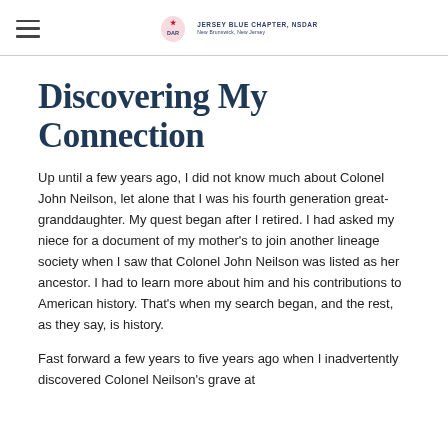DAR — Jersey Blue Chapter, NSDAR, New Brunswick, New Jersey
Discovering My Connection
Up until a few years ago, I did not know much about Colonel John Neilson, let alone that I was his fourth generation great-granddaughter. My quest began after I retired. I had asked my niece for a document of my mother's to join another lineage society when I saw that Colonel John Neilson was listed as her ancestor. I had to learn more about him and his contributions to American history. That's when my search began, and the rest, as they say, is history.
Fast forward a few years to five years ago when I inadvertently discovered Colonel Neilson's grave at